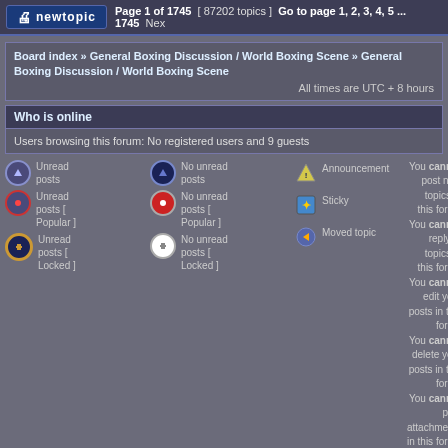Page 1 of 1745 [ 87202 topics ] Go to page 1, 2, 3, 4, 5 ... 1745 Next
Board index » General Boxing Discussion / World Boxing Scene » General Boxing Discussion / World Boxing Scene
All times are UTC + 8 hours
Who is online
Users browsing this forum: No registered users and 9 guests
Unread posts
No unread posts
Announcement
You cannot post new topics in this forum
You cannot reply to topics in this forum
You cannot edit your posts in this forum
You cannot delete your posts in this forum
You cannot post attachments in this forum
Unread posts [ Popular ]
No unread posts [ Popular ]
Sticky
Unread posts [ Locked ]
No unread posts [ Locked ]
Moved topic
Search for:
Jump to: General Boxing Discussion / World Boxing Sce
philboxing.com | pinoygreats.com
Powered by phpBB® Forum Software © phpBB Group